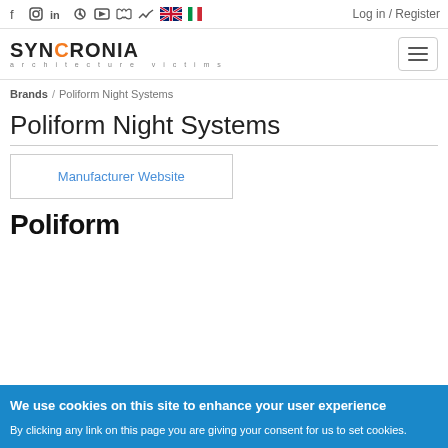f  instagram  in  pinterest  youtube  twitter  [UK flag]  [IT flag]  Log in / Register
[Figure (logo): SYNCRONIA architecture victims logo with hamburger menu button]
Brands / Poliform Night Systems
Poliform Night Systems
Manufacturer Website
[Figure (logo): Poliform brand logo in bold black text]
We use cookies on this site to enhance your user experience
By clicking any link on this page you are giving your consent for us to set cookies.